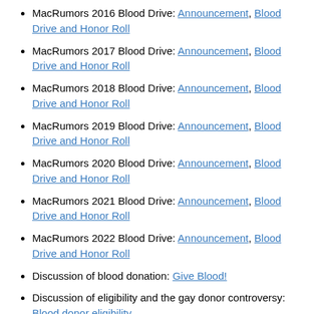MacRumors 2016 Blood Drive: Announcement, Blood Drive and Honor Roll
MacRumors 2017 Blood Drive: Announcement, Blood Drive and Honor Roll
MacRumors 2018 Blood Drive: Announcement, Blood Drive and Honor Roll
MacRumors 2019 Blood Drive: Announcement, Blood Drive and Honor Roll
MacRumors 2020 Blood Drive: Announcement, Blood Drive and Honor Roll
MacRumors 2021 Blood Drive: Announcement, Blood Drive and Honor Roll
MacRumors 2022 Blood Drive: Announcement, Blood Drive and Honor Roll
Discussion of blood donation: Give Blood!
Discussion of eligibility and the gay donor controversy: Blood donor eligibility
See Also